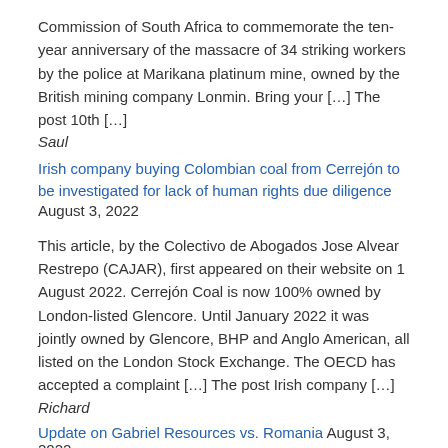Commission of South Africa to commemorate the ten-year anniversary of the massacre of 34 striking workers by the police at Marikana platinum mine, owned by the British mining company Lonmin. Bring your […] The post 10th […]
Saul
Irish company buying Colombian coal from Cerrejón to be investigated for lack of human rights due diligence August 3, 2022
This article, by the Colectivo de Abogados Jose Alvear Restrepo (CAJAR), first appeared on their website on 1 August 2022. Cerrejón Coal is now 100% owned by London-listed Glencore. Until January 2022 it was jointly owned by Glencore, BHP and Anglo American, all listed on the London Stock Exchange. The OECD has accepted a complaint […] The post Irish company […]
Richard
Update on Gabriel Resources vs. Romania August 3, 2022
3 August 2022: Miningwatch Romania reports that the Gabriel Resources vs. Romania ISDS (Investor State Dispute Settlement) arbitration procedure on the Rosia Montana mine proposal is nearing its end and that developments with material impact have arisen at the same time.  In 2015 Gabriel Resources (GBU.V) initiated arbitration